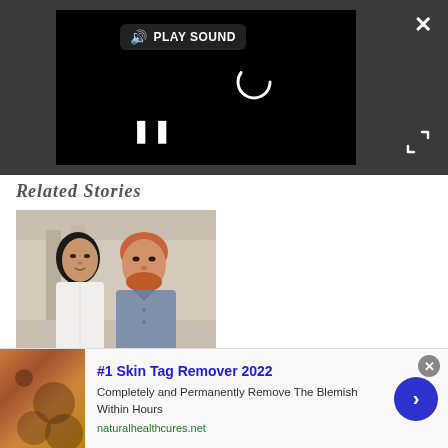[Figure (screenshot): Video player with dark background showing loading spinner, pause button, play sound button, close X, and fullscreen icon]
Related Stories
[Figure (photo): Photo of Meghan Markle and Prince Harry sitting together, image credit Chris Jackson]
(Image credit: Chris Jackson)
Brits Aren't Excited About Harry & Meghan's Shows
[Figure (infographic): Advertisement for #1 Skin Tag Remover 2022 with skin close-up image, arrow button, and link to naturalhealthcures.net]